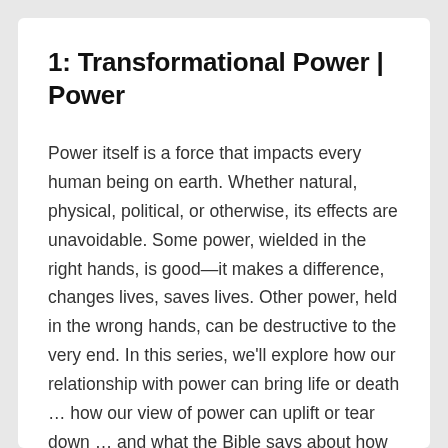1: Transformational Power | Power
Power itself is a force that impacts every human being on earth. Whether natural, physical, political, or otherwise, its effects are unavoidable. Some power, wielded in the right hands, is good—it makes a difference, changes lives, saves lives. Other power, held in the wrong hands, can be destructive to the very end. In this series, we'll explore how our relationship with power can bring life or death … how our view of power can uplift or tear down … and what the Bible says about how God desires us to use power in our lives.